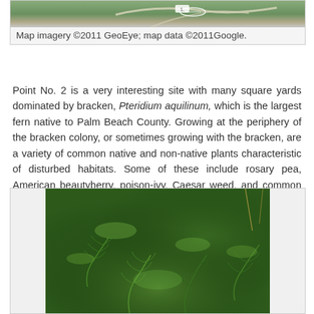[Figure (photo): Aerial/satellite map image showing a location with a bridge or structure, labeled as map imagery from GeoEye and Google 2011]
Map imagery ©2011 GeoEye; map data ©2011Google.
Point No. 2 is a very interesting site with many square yards dominated by bracken, Pteridium aquilinum, which is the largest fern native to Palm Beach County. Growing at the periphery of the bracken colony, or sometimes growing with the bracken, are a variety of common native and non-native plants characteristic of disturbed habitats. Some of these include rosary pea, American beautyberry, poison-ivy, Caesar weed, and common tick-trefoil.
[Figure (photo): Photograph of a dense colony of bracken fern (Pteridium aquilinum) showing lush green fronds covering the ground]